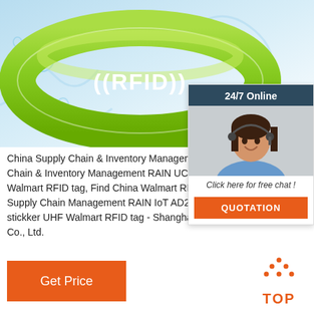[Figure (photo): Green RFID silicone wristband with water splash background and RFID text on the band]
[Figure (photo): 24/7 Online chat widget with customer service representative photo, 'Click here for free chat!' text, and orange QUOTATION button]
China Supply Chain & Inventory Management RAIN China Supply Chain & Inventory Management RAIN UCODE 8 label stickker UHF Walmart RFID tag, Find China Walmart RFID tag, RFID tag from Supply Chain Management RAIN IoT AD238 UCODE 8 label stickker UHF Walmart RFID tag - Shanghai Huayuan Electronic Co., Ltd.
[Figure (other): Orange Get Price button]
[Figure (other): TOP scroll-to-top button in orange with dotted arrow icon]